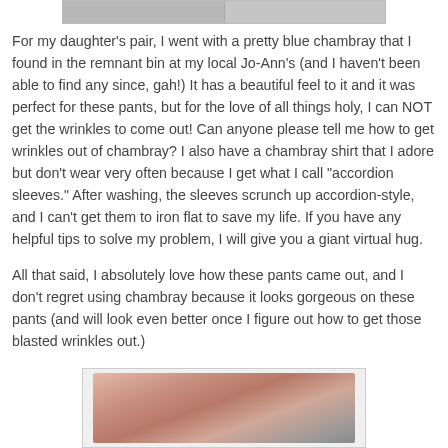[Figure (photo): Partial view of two photos side by side at the top of the page, cropped]
For my daughter's pair, I went with a pretty blue chambray that I found in the remnant bin at my local Jo-Ann's (and I haven't been able to find any since, gah!) It has a beautiful feel to it and it was perfect for these pants, but for the love of all things holy, I can NOT get the wrinkles to come out! Can anyone please tell me how to get wrinkles out of chambray? I also have a chambray shirt that I adore but don't wear very often because I get what I call "accordion sleeves." After washing, the sleeves scrunch up accordion-style, and I can't get them to iron flat to save my life. If you have any helpful tips to solve my problem, I will give you a giant virtual hug.
All that said, I absolutely love how these pants came out, and I don't regret using chambray because it looks gorgeous on these pants (and will look even better once I figure out how to get those blasted wrinkles out.)
[Figure (photo): Photo of a child wearing red patterned pants, partial view cropped at bottom of page]